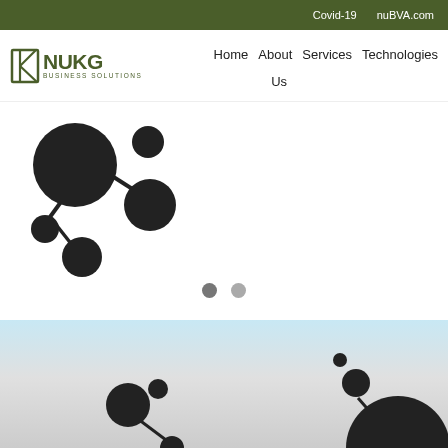Covid-19   nuBVA.com
[Figure (logo): NUKG Business Solutions logo with stylized K icon and text]
Home   About   Services   Technologies   Us
[Figure (illustration): Network/molecule graph icon with dark circles connected by lines, top-left area]
[Figure (illustration): Two pagination dots (carousel indicators) centered]
[Figure (illustration): Bottom section with light blue to grey gradient and partial network/molecule icons at bottom]